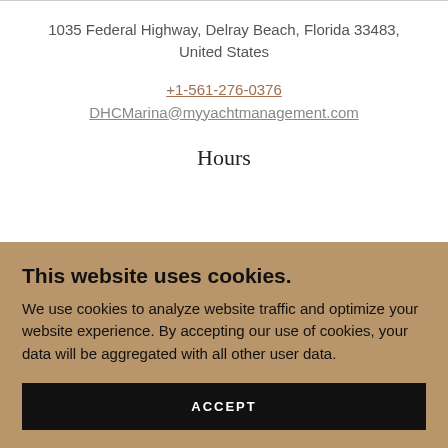1035 Federal Highway, Delray Beach, Florida 33483, United States
+1-561-276-0376
DHCMarina@myyachtmanagement.com
Hours
This website uses cookies.
We use cookies to analyze website traffic and optimize your website experience. By accepting our use of cookies, your data will be aggregated with all other user data.
ACCEPT